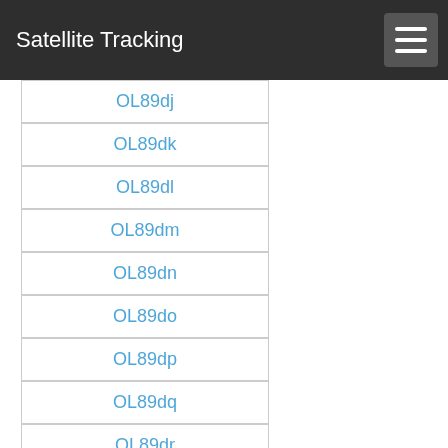Satellite Tracking
OL89dj
OL89dk
OL89dl
OL89dm
OL89dn
OL89do
OL89dp
OL89dq
OL89dr
OL89ds
OL89dt
OL89du
OL89dv
OL89dw
OL89dx
OL89ea
OL89eb
OL89ec